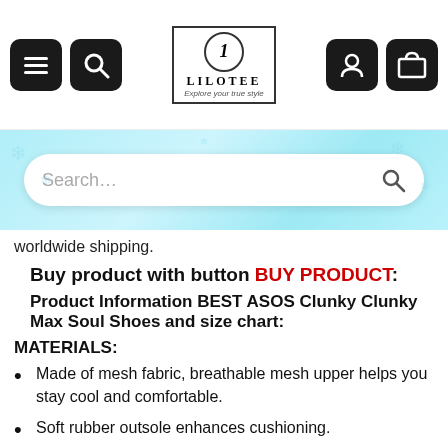LILOTEE — Explore your true style
[Figure (screenshot): Search bar on a light blue/teal snowflake banner background]
worldwide shipping.
Buy product with button BUY PRODUCT:
Product Information BEST ASOS Clunky Clunky Max Soul Shoes and size chart:
MATERIALS:
Made of mesh fabric, breathable mesh upper helps you stay cool and comfortable.
Soft rubber outsole enhances cushioning.
More air underfoot creates a softer, more comfortable ride